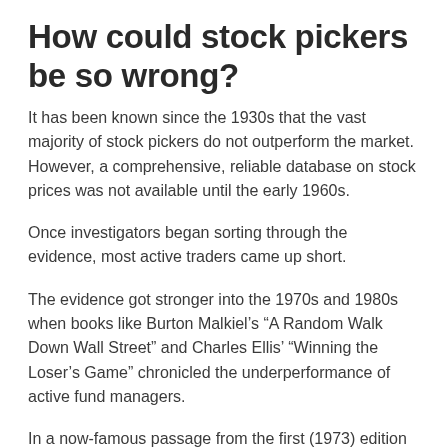How could stock pickers be so wrong?
It has been known since the 1930s that the vast majority of stock pickers do not outperform the market. However, a comprehensive, reliable database on stock prices was not available until the early 1960s.
Once investigators began sorting through the evidence, most active traders came up short.
The evidence got stronger into the 1970s and 1980s when books like Burton Malkiel’s “A Random Walk Down Wall Street” and Charles Ellis’ “Winning the Loser’s Game” chronicled the underperformance of active fund managers.
In a now-famous passage from the first (1973) edition of